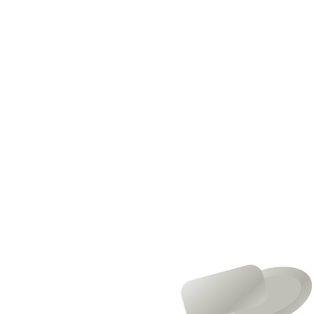Bathroom stainless steel hoo…
Product no.: 05004HTL
Individual stainless steel hanger…
Wall-mounted stainless steel hoo… Finitions: Bright or satin. 2 years…
[Figure (illustration): Green delivery truck badge with text LIVRAISON GRATUITE]
14.55 € *
In stock
can be shipped within 4-5 days
Compare
[Figure (photo): Bottom portion of stainless steel bathroom hook product photo]